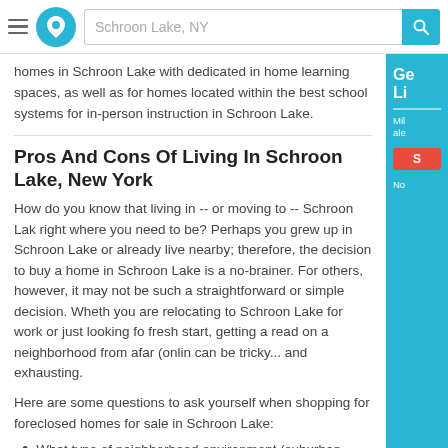Schroon Lake, NY [search bar with logo]
homes in Schroon Lake with dedicated in home learning spaces, as well as for homes located within the best school systems for in-person instruction in Schroon Lake.
Pros And Cons Of Living In Schroon Lake, New York
How do you know that living in -- or moving to -- Schroon Lake is right where you need to be? Perhaps you grew up in Schroon Lake or already live nearby; therefore, the decision to buy a home in Schroon Lake is a no-brainer. For others, however, it may not be such a straightforward or simple decision. Whether you are relocating to Schroon Lake for work or just looking for a fresh start, getting a read on a neighborhood from afar (online) can be tricky... and exhausting.
Here are some questions to ask yourself when shopping for foreclosed homes for sale in Schroon Lake:
What type of neighborhood environment (suburban, urban, rural, etc.) do you prefer?